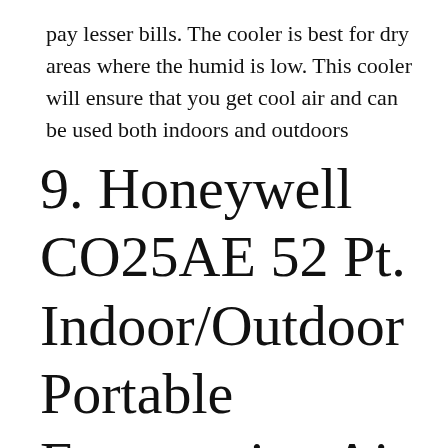pay lesser bills. The cooler is best for dry areas where the humid is low. This cooler will ensure that you get cool air and can be used both indoors and outdoors
9. Honeywell CO25AE 52 Pt. Indoor/Outdoor Portable Evaporative Air Cooler with Remote Control – Grey